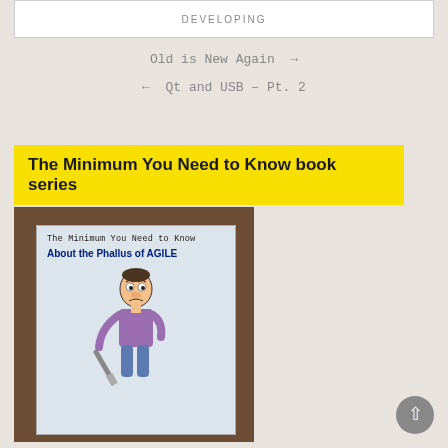DEVELOPING
Old is New Again →
← Qt and USB – Pt. 2
The Minimum You Need to Know book series
[Figure (photo): Photo of a book titled 'The Minimum You Need to Know About the Phallus of AGILE' with a cartoon figure on the cover, placed on a wooden surface.]